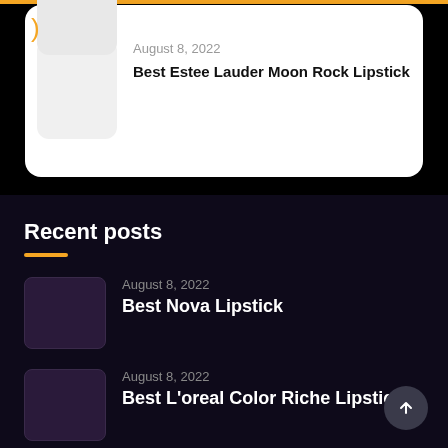[Figure (screenshot): Card with image placeholder, gold crescent icon, date and article title on white background]
August 8, 2022
Best Estee Lauder Moon Rock Lipstick
Recent posts
August 8, 2022
Best Nova Lipstick
August 8, 2022
Best L'oreal Color Riche Lipstick